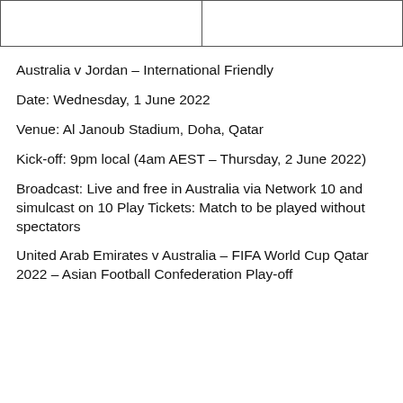|  |  |
Australia v Jordan – International Friendly
Date: Wednesday, 1 June 2022
Venue: Al Janoub Stadium, Doha, Qatar
Kick-off: 9pm local (4am AEST – Thursday, 2 June 2022)
Broadcast: Live and free in Australia via Network 10 and simulcast on 10 Play Tickets: Match to be played without spectators
United Arab Emirates v Australia – FIFA World Cup Qatar 2022 – Asian Football Confederation Play-off